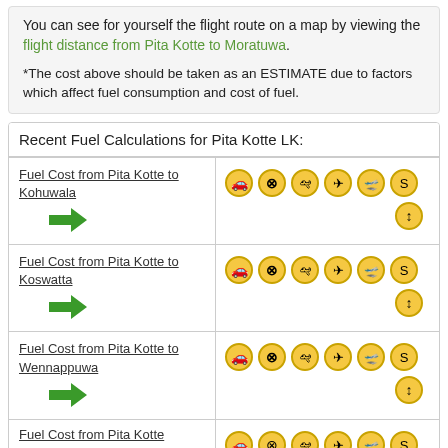You can see for yourself the flight route on a map by viewing the flight distance from Pita Kotte to Moratuwa.
*The cost above should be taken as an ESTIMATE due to factors which affect fuel consumption and cost of fuel.
Recent Fuel Calculations for Pita Kotte LK:
| Route | Icons |
| --- | --- |
| Fuel Cost from Pita Kotte to Kohuwala | icons |
| Fuel Cost from Pita Kotte to Koswatta | icons |
| Fuel Cost from Pita Kotte to Wennappuwa | icons |
| Fuel Cost from Pita Kotte to ... | icons |